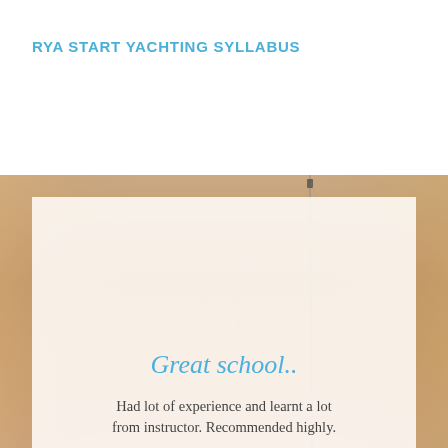RYA START YACHTING SYLLABUS
[Figure (photo): Yacht masts silhouetted in misty/foggy conditions with warm golden-orange background. A white semi-transparent card overlaid on the photo contains a testimonial quote.]
Great school..
Had lot of experience and learnt a lot from instructor. Recommended highly.